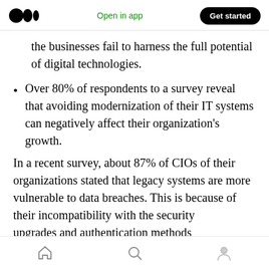Medium logo | Open in app | Get started
the businesses fail to harness the full potential of digital technologies.
Over 80% of respondents to a survey reveal that avoiding modernization of their IT systems can negatively affect their organization's growth.
In a recent survey, about 87% of CIOs of their organizations stated that legacy systems are more vulnerable to data breaches. This is because of their incompatibility with the security upgrades and authentication methods
Home | Search | Profile